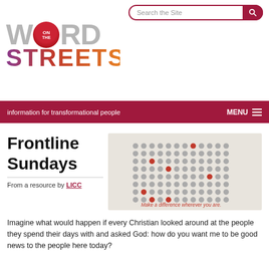Search the Site
[Figure (logo): Word On The Streets logo with globe-style 'ON THE' badge and colourful STREETS text]
information for transformational people   MENU
Frontline Sundays
[Figure (infographic): Grid of grey dots with several red dots highlighted, captioned 'Make a difference wherever you are.']
From a resource by LICC
Imagine what would happen if every Christian looked around at the people they spend their days with and asked God: how do you want me to be good news to the people here today?